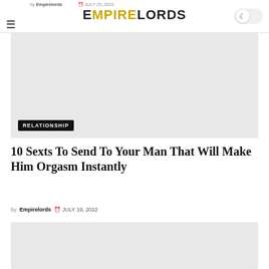by Empirelords  JULY 25, 2022
[Figure (photo): Article featured image placeholder with RELATIONSHIP category badge]
10 Sexts To Send To Your Man That Will Make Him Orgasm Instantly
by Empirelords  JULY 19, 2022
[Figure (photo): Second article featured image placeholder]